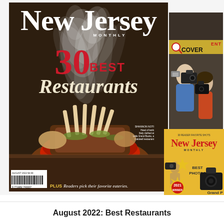[Figure (photo): Magazine cover of New Jersey Monthly, August 2022 issue. Features a dramatic food photo of a smoking meat dish in a red bowl, with headline '30 Best Restaurants' and subtext 'PLUS Readers pick their favorite eateries.' Overlapping with two smaller magazine covers: one showing a camera/photography theme with 'ENTER COVER' text, and a smaller New Jersey Monthly cover with a golden/yellow background showing 'BEST PHOTOS' and a 2021 award badge.]
August 2022: Best Restaurants